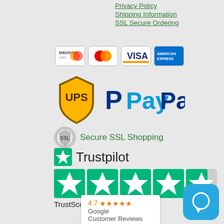Privacy Policy
Shipping Information
SSL Secure Ordering
[Figure (logo): Payment method logos: Discover Card, MasterCard, Visa, American Express]
[Figure (logo): UPS and PayPal logos]
[Figure (logo): Secure SSL Shopping badge with shield/certificate icon]
[Figure (logo): Trustpilot logo with green star]
[Figure (other): Trustpilot 4.7 star rating displayed as 5 green star boxes, TrustScore 4.7 | 2,450 reviews]
[Figure (other): Google Customer Reviews box showing 4.7 star rating with orange stars]
[Figure (other): Blue chat icon in bottom right corner]